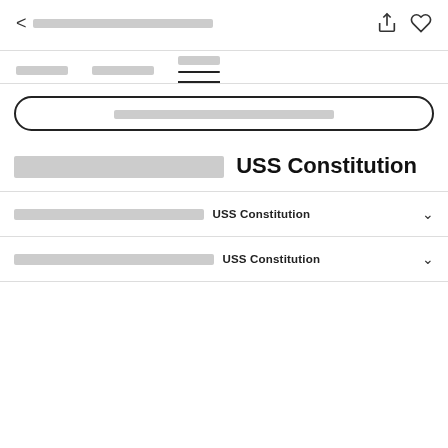< [placeholder text] [share icon] [heart icon]
[tab1] [tab2] [tab3 active]
[search placeholder text]
[placeholder] USS Constitution
[placeholder] USS Constitution [chevron]
[placeholder] USS Constitution [chevron]